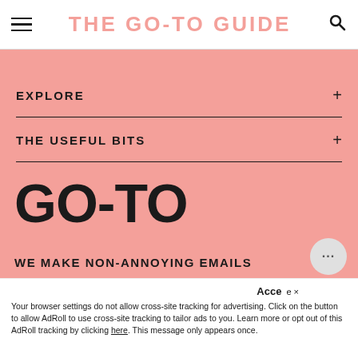THE GO-TO GUIDE
EXPLORE
THE USEFUL BITS
GO-TO
WE MAKE NON-ANNOYING EMAILS
Accept
Your browser settings do not allow cross-site tracking for advertising. Click on the button to allow AdRoll to use cross-site tracking to tailor ads to you. Learn more or opt out of this AdRoll tracking by clicking here. This message only appears once.